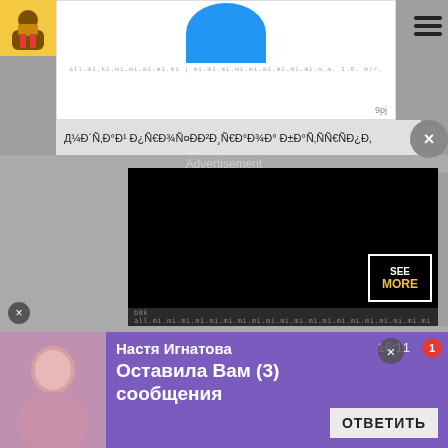[Figure (screenshot): Website screenshot with video advertisement overlay, search tags, and notification banner in Russian]
Д¼Ð´Ñ‚Ð°Ð¹ Ð¿Ñ€Ð¾Ñ¤Ð³Ð²Ð¸Ñ€Ð°Ð¾Ð° Ð±Ð°Ñ‚ÑÑ€ÑÐ¿Ð,
[Figure (screenshot): Black video ad area with SEE MORE badge]
Advertisement
Skip in 5 seconds ×
Ads by Clickadilla
зараб                                                                                         игрока
мортал комбат мобайл         невзоров о войне
стрит фотография
разминка утром дома
[Figure (screenshot): Notification banner: Настя Игнатова, Оставила Вам (3) сообщения, ОТВЕТИТЬ, 16:11]